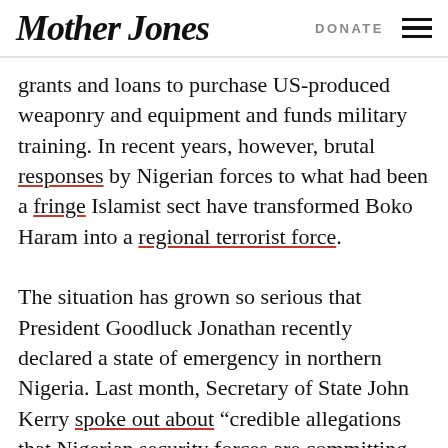Mother Jones | DONATE
grants and loans to purchase US-produced weaponry and equipment and funds military training. In recent years, however, brutal responses by Nigerian forces to what had been a fringe Islamist sect have transformed Boko Haram into a regional terrorist force.
The situation has grown so serious that President Goodluck Jonathan recently declared a state of emergency in northern Nigeria. Last month, Secretary of State John Kerry spoke out about “credible allegations that Nigerian security forces are committing gross human rights violations, which, in turn, only escalate the violence and fuel extremism.” After a Boko Haram militant killed a